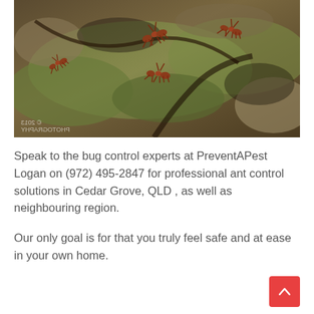[Figure (photo): Close-up macro photograph of several reddish-brown ants crawling on a mossy, textured rock or bark surface. A mirrored/watermark text reading '© 2013 PHOTOGRAPHY' appears at the bottom right corner of the image.]
Speak to the bug control experts at PreventAPest Logan on (972) 495-2847 for professional ant control solutions in Cedar Grove, QLD , as well as neighbouring region.
Our only goal is for that you truly feel safe and at ease in your own home.